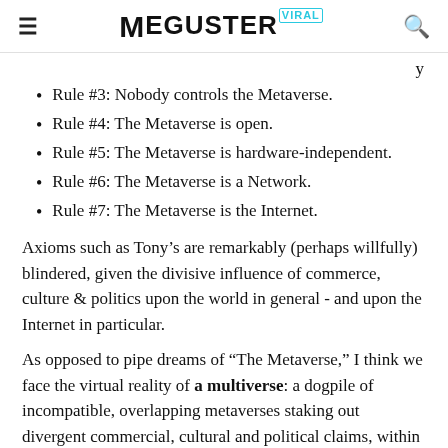Meguster Viral
Rule #3: Nobody controls the Metaverse.
Rule #4: The Metaverse is open.
Rule #5: The Metaverse is hardware-independent.
Rule #6: The Metaverse is a Network.
Rule #7: The Metaverse is the Internet.
Axioms such as Tony’s are remarkably (perhaps willfully) blindered, given the divisive influence of commerce, culture & politics upon the world in general - and upon the Internet in particular.
As opposed to pipe dreams of “The Metaverse,” I think we face the virtual reality of a multiverse: a dogpile of incompatible, overlapping metaverses staking out divergent commercial, cultural and political claims, within and between nations.